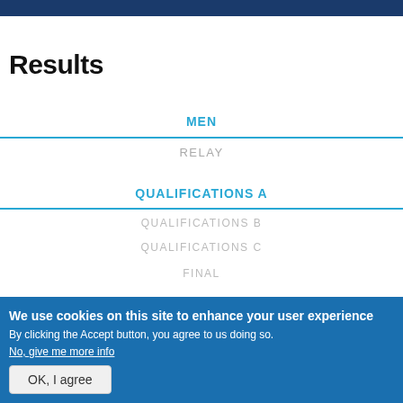Results
MEN
RELAY
QUALIFICATIONS A
QUALIFICATIONS B
QUALIFICATIONS C
FINAL
We use cookies on this site to enhance your user experience
By clicking the Accept button, you agree to us doing so.
No, give me more info
OK, I agree